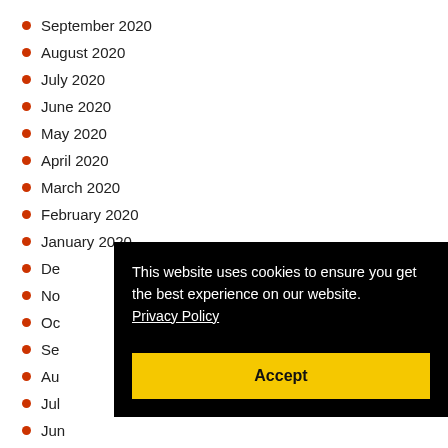September 2020
August 2020
July 2020
June 2020
May 2020
April 2020
March 2020
February 2020
January 2020
De[cember 2019]
No[vember 2019]
Oc[tober 2019]
Se[ptember 2019]
Au[gust 2019]
Jul[y 2019]
Jun[e 2019]
May 2019
This website uses cookies to ensure you get the best experience on our website. Privacy Policy
Accept